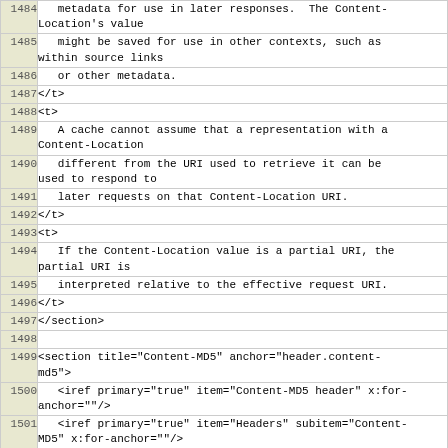| line | content |
| --- | --- |
| 1484 |    metadata for use in later responses.  The Content-
Location's value |
| 1485 |    might be saved for use in other contexts, such as
within source links |
| 1486 |    or other metadata. |
| 1487 | </t> |
| 1488 | <t> |
| 1489 |    A cache cannot assume that a representation with a
Content-Location |
| 1490 |    different from the URI used to retrieve it can be
used to respond to |
| 1491 |    later requests on that Content-Location URI. |
| 1492 | </t> |
| 1493 | <t> |
| 1494 |    If the Content-Location value is a partial URI, the
partial URI is |
| 1495 |    interpreted relative to the effective request URI. |
| 1496 | </t> |
| 1497 | </section> |
| 1498 |  |
| 1499 | <section title="Content-MD5" anchor="header.content-
md5"> |
| 1500 |    <iref primary="true" item="Content-MD5 header" x:for-
anchor=""/> |
| 1501 |    <iref primary="true" item="Headers" subitem="Content-
MD5" x:for-anchor=""/> |
| 1502 |    <x:anchor-alias value="Content-MD5"/> |
| 1503 |    <x:anchor-alias value="Content-MD5-v"/> |
| 1504 | <t> |
| 1505 |    The "Content-MD5" header field, as defined in <xref
target="RFC1864"/>, is |
| 1506 |    an MD5 digest of the payload body that provides an
end-to-end message |
| 1507 |    integrity check (MIC) of the payload body (the |